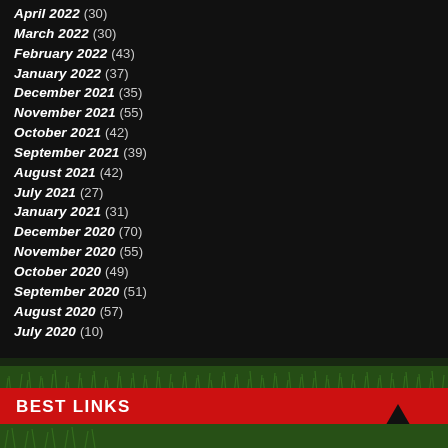April 2022 (30)
March 2022 (30)
February 2022 (43)
January 2022 (37)
December 2021 (35)
November 2021 (55)
October 2021 (42)
September 2021 (39)
August 2021 (42)
July 2021 (27)
January 2021 (31)
December 2020 (70)
November 2020 (55)
October 2020 (49)
September 2020 (51)
August 2020 (57)
July 2020 (10)
[Figure (photo): Green grass texture strip]
BEST LINKS
[Figure (illustration): Black upward-pointing triangle on red bar]